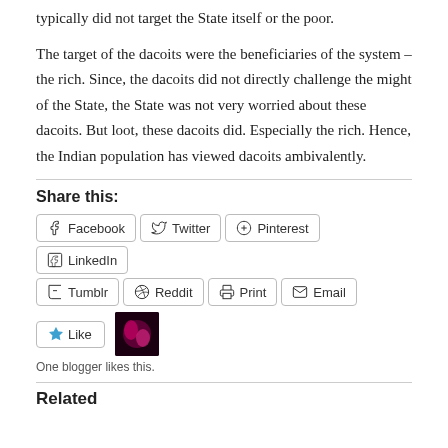typically did not target the State itself or the poor.
The target of the dacoits were the beneficiaries of the system – the rich. Since, the dacoits did not directly challenge the might of the State, the State was not very worried about these dacoits. But loot, these dacoits did. Especially the rich. Hence, the Indian population has viewed dacoits ambivalently.
Share this:
Facebook  Twitter  Pinterest  LinkedIn  Tumblr  Reddit  Print  Email
One blogger likes this.
Related